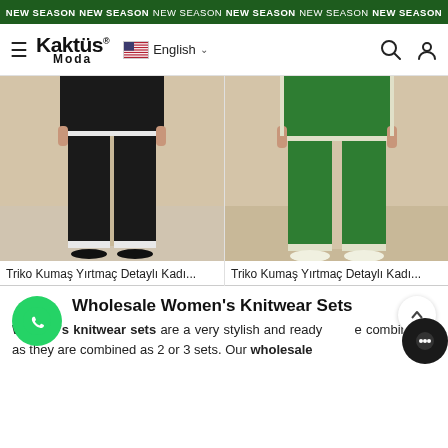NEW SEASON NEW SEASON NEW SEASON NEW SEASON NEW SEASON NEW SEASON
[Figure (logo): Kaktüs Moda logo with hamburger menu, language selector (English), search and user icons]
[Figure (photo): Model wearing black knit wide-leg pants with white trim detail, photographed from waist down]
[Figure (photo): Model wearing green knit wide-leg pants with white trim detail, photographed from waist down]
Triko Kumaş Yırtmaç Detaylı Kadı...
Triko Kumaş Yırtmaç Detaylı Kadı...
Wholesale Women's Knitwear Sets
Women's knitwear sets are a very stylish and readymade combination as they are combined as 2 or 3 sets. Our wholesale